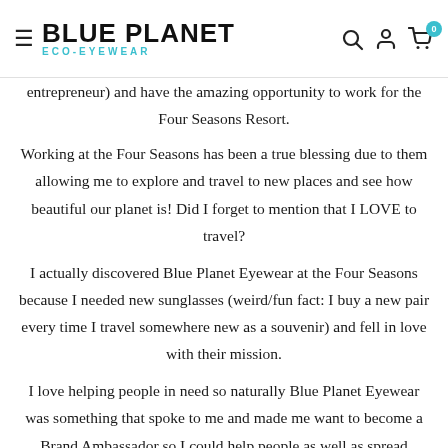Blue Planet Eco-Eyewear
entrepreneur) and have the amazing opportunity to work for the Four Seasons Resort.
Working at the Four Seasons has been a true blessing due to them allowing me to explore and travel to new places and see how beautiful our planet is! Did I forget to mention that I LOVE to travel?
I actually discovered Blue Planet Eyewear at the Four Seasons because I needed new sunglasses (weird/fun fact: I buy a new pair every time I travel somewhere new as a souvenir) and fell in love with their mission.
I love helping people in need so naturally Blue Planet Eyewear was something that spoke to me and made me want to become a Brand Ambassador so I could help people as well as spread awareness on this wonderful company. I love being able